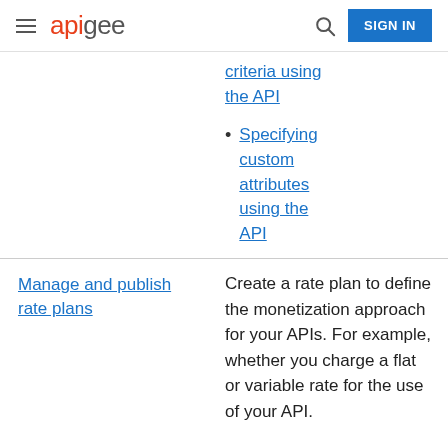apigee | SIGN IN
criteria using the API
Specifying custom attributes using the API
Manage and publish rate plans
Create a rate plan to define the monetization approach for your APIs. For example, whether you charge a flat or variable rate for the use of your API.